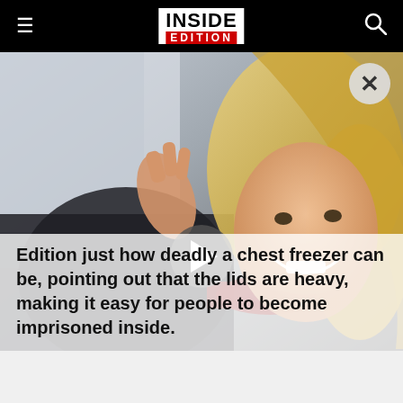Inside Edition
[Figure (photo): Blonde woman smiling inside or near a chest freezer, looking upward with one hand raised, wearing dark clothing with a red scarf. A video play button overlay is visible in the center. A close (X) button is in the top-right corner.]
Edition just how deadly a chest freezer can be, pointing out that the lids are heavy, making it easy for people to become imprisoned inside.